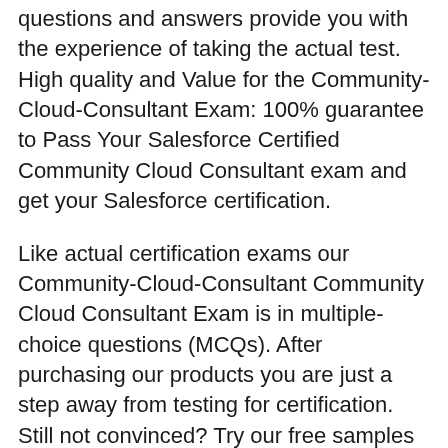questions and answers provide you with the experience of taking the actual test. High quality and Value for the Community-Cloud-Consultant Exam: 100% guarantee to Pass Your Salesforce Certified Community Cloud Consultant exam and get your Salesforce certification.
Like actual certification exams our Community-Cloud-Consultant Community Cloud Consultant Exam is in multiple-choice questions (MCQs). After purchasing our products you are just a step away from testing for certification. Still not convinced? Try our free samples or choose to buy your Community-Cloud-Consultant Practice Exam now!
Click here for the Salesforce Community-Cloud-Consultant exam dumps: https://certificationstime.com/updated/community-